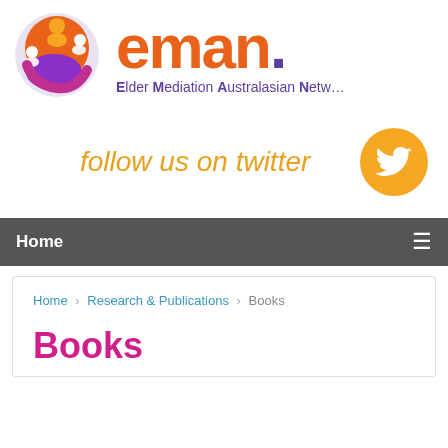[Figure (logo): EMAN logo: circular design with orange, purple and pink human figures, alongside 'eman' in orange and 'Elder Mediation Australasian Network' in purple]
follow us on twitter
[Figure (logo): Twitter bird icon in white on orange circle]
Home
Home › Research & Publications › Books
Books